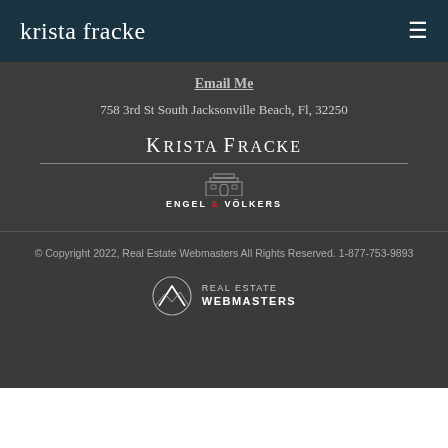krista fracke
Email Me
758 3rd St South Jacksonville Beach, Fl, 32250
Krista Fracke
[Figure (logo): Engel & Völkers real estate brand logo with building icon]
© Copyright 2022, Real Estate Webmasters All Rights Reserved. 1-877-753-9893
[Figure (logo): Real Estate Webmasters logo with mountain/wave icon]